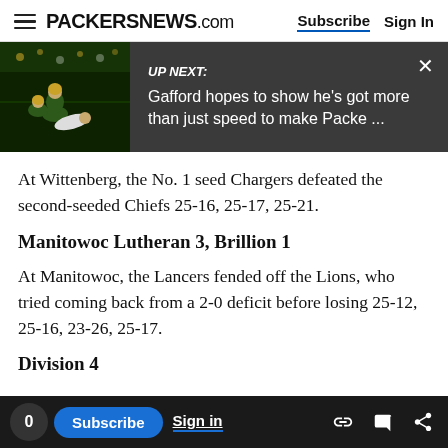PACKERSNEWS.com | Subscribe | Sign In
[Figure (screenshot): Up Next banner with football game thumbnail image and text: UP NEXT: Gafford hopes to show he's got more than just speed to make Packe ...]
At Wittenberg, the No. 1 seed Chargers defeated the second-seeded Chiefs 25-16, 25-17, 25-21.
Manitowoc Lutheran 3, Brillion 1
At Manitowoc, the Lancers fended off the Lions, who tried coming back from a 2-0 deficit before losing 25-12, 25-16, 23-26, 25-17.
Division 4
At Hill ... the Wel ... beat the Pio ... 25-10, 21 ...